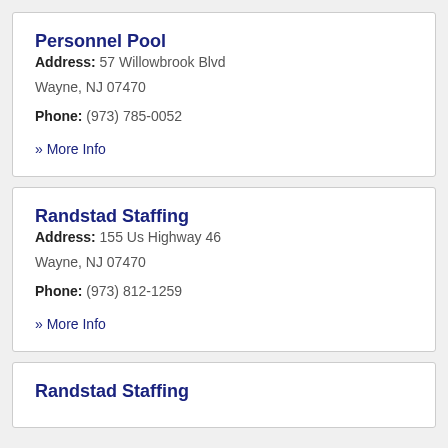Personnel Pool
Address: 57 Willowbrook Blvd Wayne, NJ 07470
Phone: (973) 785-0052
» More Info
Randstad Staffing
Address: 155 Us Highway 46 Wayne, NJ 07470
Phone: (973) 812-1259
» More Info
Randstad Staffing